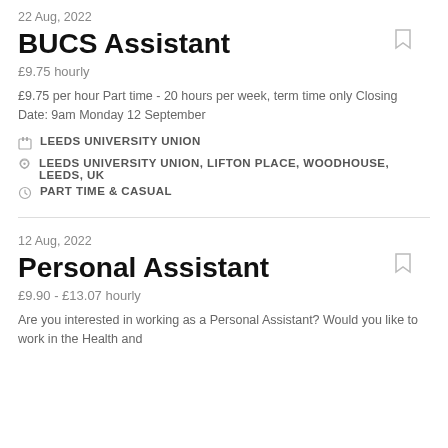22 Aug, 2022
BUCS Assistant
£9.75 hourly
£9.75 per hour Part time - 20 hours per week, term time only Closing Date: 9am Monday 12 September
LEEDS UNIVERSITY UNION
LEEDS UNIVERSITY UNION, LIFTON PLACE, WOODHOUSE, LEEDS, UK
PART TIME & CASUAL
12 Aug, 2022
Personal Assistant
£9.90 - £13.07 hourly
Are you interested in working as a Personal Assistant? Would you like to work in the Health and